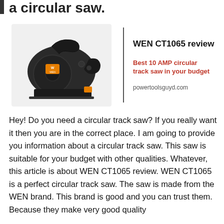a circular saw.
[Figure (photo): WEN CT1065 circular track saw product photo on dark background with orange WEN logo]
WEN CT1065 review
Best 10 AMP circular track saw in your budget
powertoolsguyd.com
Hey! Do you need a circular track saw? If you really want it then you are in the correct place. I am going to provide you information about a circular track saw. This saw is suitable for your budget with other qualities. Whatever, this article is about WEN CT1065 review. WEN CT1065 is a perfect circular track saw. The saw is made from the WEN brand. This brand is good and you can trust them. Because they make very good quality